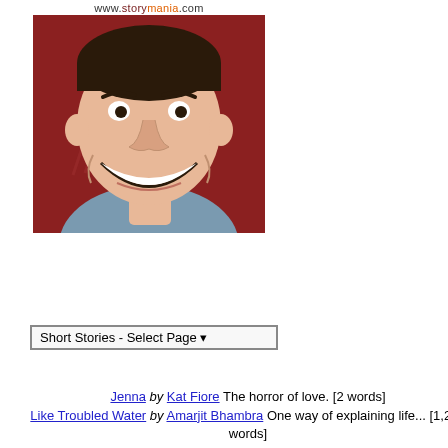[Figure (illustration): Cartoon illustration of a smiling man with dark hair on a reddish-brown background, from www.storymania.com]
Short Stories - Select Page ▾
Jenna by Kat Fiore The horror of love. [2 words]
Like Troubled Water by Amarjit Bhambra One way of explaining life... [1,261 words]
He Gave It All Away by Amarjit Bhambra I have my own African Grey and this story was written in 1999, hope you like it.... [1,959 words]
Eat You Lunch Children by Amarjit Bhambra A story for Halloween for young children,especially the ones that don't finish their lun... [450 words]
The Power Within by Amarjit Bhambra - [90 words]
Sho
TITLE (EDIT)
Mexico
DESCRIPTION
-
[799 words]
AUTHOR
Hiatt
ABOUT THE AUTHOR
-
[October 2006]
My heart started racing as the p Del Carmen, Mexico. All of my f it was.